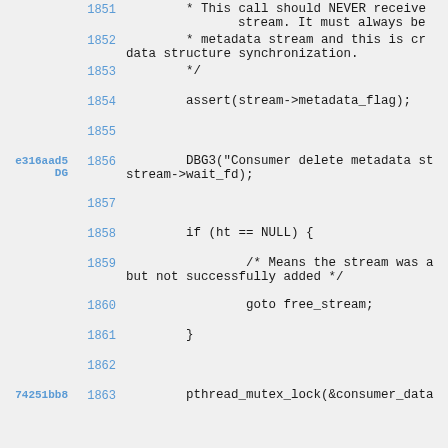1851  * This call should NEVER receive stream. It must always be
1852  * metadata stream and this is cr data structure synchronization.
1853  */
1854  assert(stream->metadata_flag);
1855
e316aad5 DG 1856  DBG3("Consumer delete metadata st stream->wait_fd);
1857
1858  if (ht == NULL) {
1859  /* Means the stream was a but not successfully added */
1860  goto free_stream;
1861  }
1862
74251bb8 1863  pthread_mutex_lock(&consumer_data